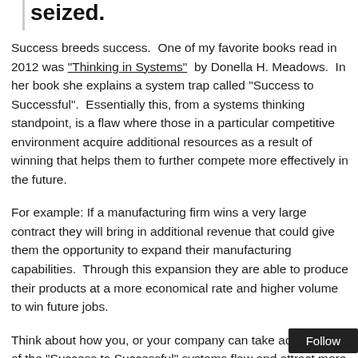seized.
Success breeds success.  One of my favorite books read in 2012 was “Thinking in Systems”  by Donella H. Meadows.  In her book she explains a system trap called “Success to Successful”.  Essentially this, from a systems thinking standpoint, is a flaw where those in a particular competitive environment acquire additional resources as a result of winning that helps them to further compete more effectively in the future.
For example: If a manufacturing firm wins a very large contract they will bring in additional revenue that could give them the opportunity to expand their manufacturing capabilities.  Through this expansion they are able to produce their products at a more economical rate and higher volume to win future jobs.
Think about how you, or your company can take advantage of the “Success to Successful” systems flaw and attract more opportunities and wins.